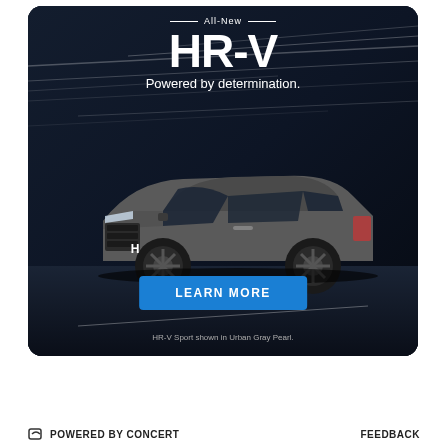[Figure (illustration): Honda HR-V advertisement showing the All-New HR-V SUV in Urban Gray Pearl on a dark motion-blurred road background. Text overlays: 'All-New' with decorative lines, 'HR-V' in large white bold text, 'Powered by determination.' tagline. A blue 'LEARN MORE' button at the bottom. Disclaimer text: 'HR-V Sport shown in Urban Gray Pearl.']
POWERED BY CONCERT    FEEDBACK